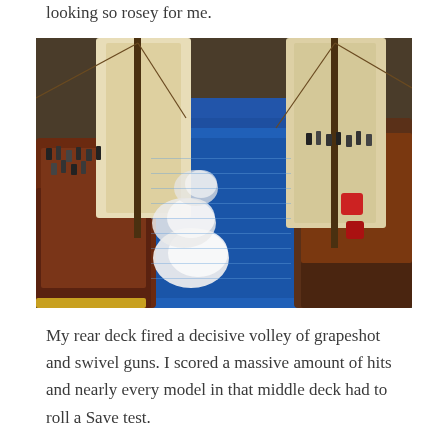looking so rosey for me.
[Figure (photo): Overhead view of two model pirate ships sailing side by side on a blue sea, with large cream-colored sails, miniature figures on deck, and white smoke from cannon fire billowing between the ships.]
My rear deck fired a decisive volley of grapeshot and swivel guns. I scored a massive amount of hits and nearly every model in that middle deck had to roll a Save test.